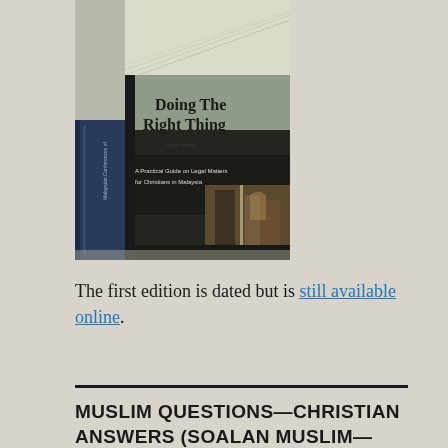[Figure (photo): A photo of a book titled 'Doing The Right Thing: A Practical Guide on Legal Matters for Christians in Malaysia', propped up and displayed with other law books stacked in the background.]
The first edition is dated but is still available online.
MUSLIM QUESTIONS—CHRISTIAN ANSWERS (SOALAN MUSLIM—JAWAPAN